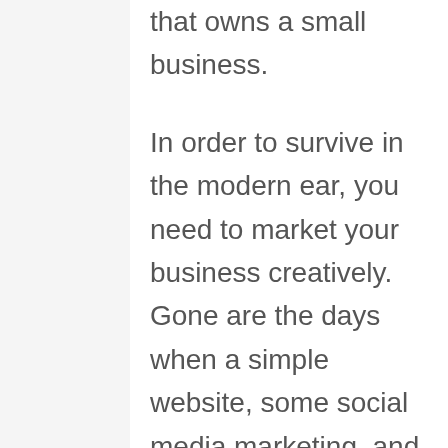that owns a small business.
In order to survive in the modern ear, you need to market your business creatively. Gone are the days when a simple website, some social media marketing, and an email autoresponder were sufficient to get customers flocking to your new business. In 2020, you have to be stand out.
To help you get started with some unique marketing strategies,